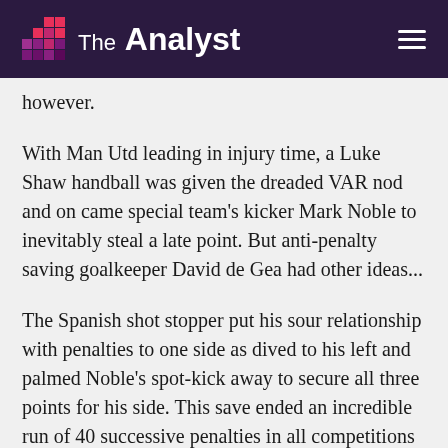The Analyst
however.
With Man Utd leading in injury time, a Luke Shaw handball was given the dreaded VAR nod and on came special team's kicker Mark Noble to inevitably steal a late point. But anti-penalty saving goalkeeper David de Gea had other ideas...
The Spanish shot stopper put his sour relationship with penalties to one side as dived to his left and palmed Noble's spot-kick away to secure all three points for his side. This save ended an incredible run of 40 successive penalties in all competitions for club and country (including shootouts) that de Gea hadn't managed to save – last doing so before